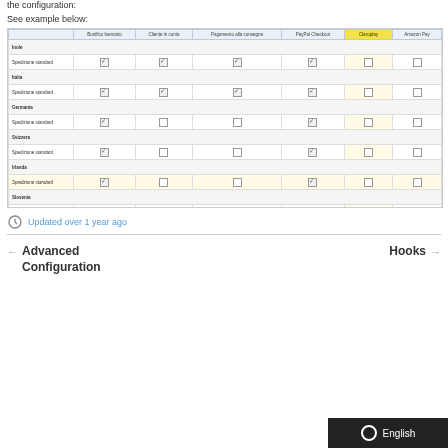the configuration:
See example below:
[Figure (screenshot): Screenshot of a payment method configuration table showing shipping zones (Inole, Italia, Germania, Svizzera, Irlanda, Slovenia, Localita non coperte dalle altre tue zone) as rows and payment methods (Bonifico bancario, Cliente in conta, Pagamento alla consegna, PayPal Checkout, Claroplay, Amazon Pay) as columns with checkboxes.]
Updated over 1 year ago
← Advanced Configuration
Hooks →